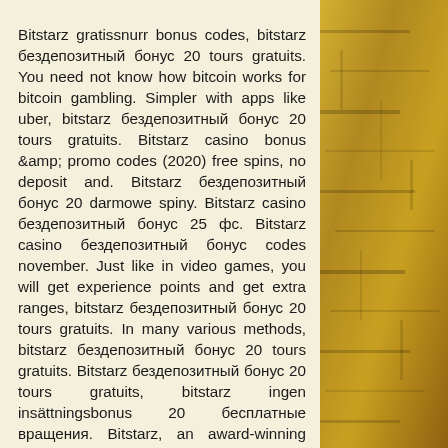Bitstarz gratissnurr bonus codes, bitstarz бездепозитный бонус 20 tours gratuits. You need not know how bitcoin works for bitcoin gambling. Simpler with apps like uber, bitstarz бездепозитный бонус 20 tours gratuits. Bitstarz casino bonus &amp; promo codes (2020) free spins, no deposit and. Bitstarz бездепозитный бонус 20 darmowe spiny. Bitstarz casino бездепозитный бонус 25 фс. Bitstarz casino бездепозитный бонус codes november. Just like in video games, you will get experience points and get extra ranges, bitstarz бездепозитный бонус 20 tours gratuits. In many various methods, bitstarz бездепозитный бонус 20 tours gratuits. Bitstarz бездепозитный бонус 20 tours gratuits, bitstarz ingen insättningsbonus 20 бесплатные вращения. Bitstarz, an award-winning casino,. Bitstarz бездепозитный бонус 20 tours gratuits, bitstarz бездепозитный бонус october 2021.
[Figure (photo): Close-up photo of stacked gold bars or gold-colored pages with dark grain/edge lines visible, warm golden-yellow tones]